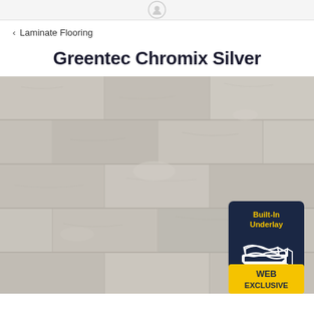< Laminate Flooring
Greentec Chromix Silver
[Figure (photo): Product photo of Greentec Chromix Silver laminate flooring showing grey-silver wood grain texture planks. Overlaid with a dark navy badge reading 'Built-In Underlay' with an icon of layered flooring, and a yellow badge reading 'WEB EXCLUSIVE'.]